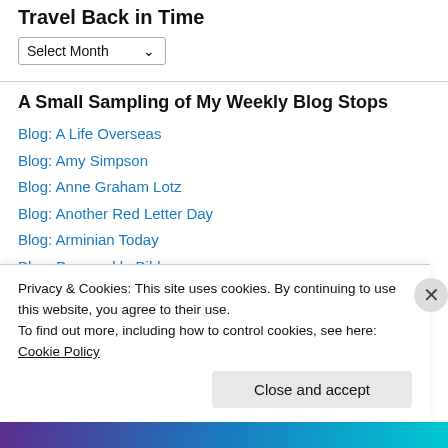Travel Back in Time
Select Month
A Small Sampling of My Weekly Blog Stops
Blog: A Life Overseas
Blog: Amy Simpson
Blog: Anne Graham Lotz
Blog: Another Red Letter Day
Blog: Arminian Today
Blog: Barenuckle Bible
Blog: Barna Research
Privacy & Cookies: This site uses cookies. By continuing to use this website, you agree to their use.
To find out more, including how to control cookies, see here: Cookie Policy
Close and accept